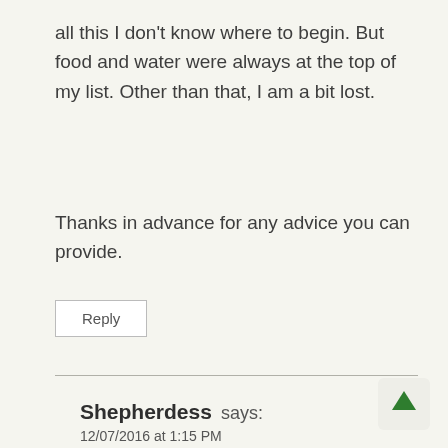all this I don't know where to begin. But food and water were always at the top of my list. Other than that, I am a bit lost.
Thanks in advance for any advice you can provide.
Reply
Shepherdess says:
12/07/2016 at 1:15 PM
Welcome Lebowski,
You have a lot of good questions.
If you go to the top of the page here you will see